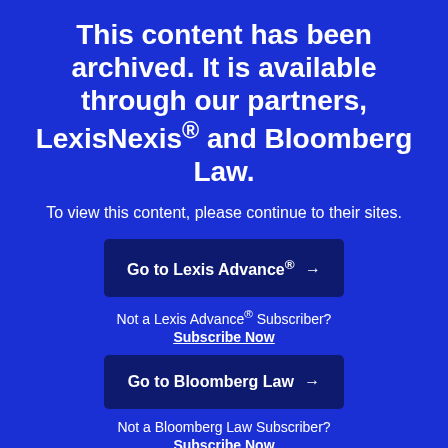This content has been archived. It is available through our partners, LexisNexis® and Bloomberg Law.
To view this content, please continue to their sites.
Go to Lexis Advance® →
Not a Lexis Advance® Subscriber? Subscribe Now
Go to Bloomberg Law →
Not a Bloomberg Law Subscriber? Subscribe Now
Why am I seeing this?